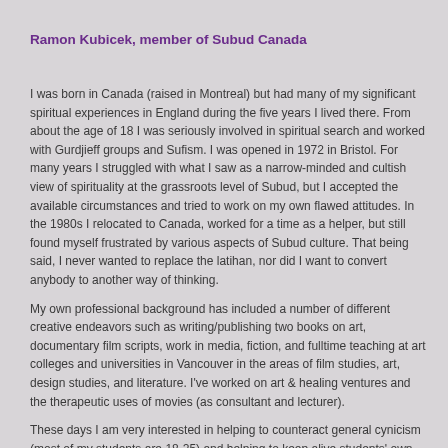Ramon Kubicek, member of Subud Canada
I was born in Canada (raised in Montreal) but had many of my significant spiritual experiences in England during the five years I lived there. From about the age of 18 I was seriously involved in spiritual search and worked with Gurdjieff groups and Sufism. I was opened in 1972 in Bristol. For many years I struggled with what I saw as a narrow-minded and cultish view of spirituality at the grassroots level of Subud, but I accepted the available circumstances and tried to work on my own flawed attitudes. In the 1980s I relocated to Canada, worked for a time as a helper, but still found myself frustrated by various aspects of Subud culture. That being said, I never wanted to replace the latihan, nor did I want to convert anybody to another way of thinking.
My own professional background has included a number of different creative endeavors such as writing/publishing two books on art, documentary film scripts, work in media, fiction, and fulltime teaching at art colleges and universities in Vancouver in the areas of film studies, art, design studies, and literature. I've worked on art & healing ventures and the therapeutic uses of movies (as consultant and lecturer).
These days I am very interested in helping to counteract general cynicism (most of my students are 18-25) and helping to keep alive students' own feeling of hope and creativity. For example,